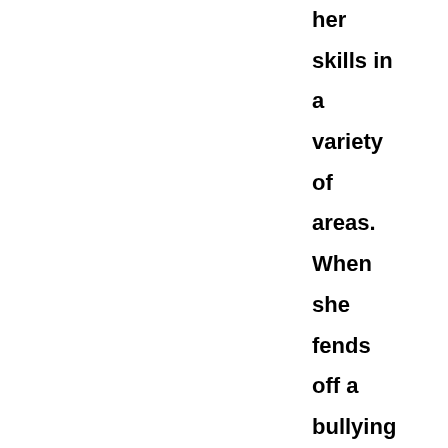her skills in a variety of areas. When she fends off a bullying nasty attack from a customer